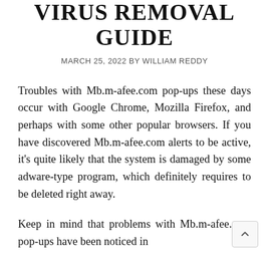VIRUS REMOVAL GUIDE
MARCH 25, 2022 BY WILLIAM REDDY
Troubles with Mb.m-afee.com pop-ups these days occur with Google Chrome, Mozilla Firefox, and perhaps with some other popular browsers. If you have discovered Mb.m-afee.com alerts to be active, it's quite likely that the system is damaged by some adware-type program, which definitely requires to be deleted right away.
Keep in mind that problems with Mb.m-afee.com pop-ups have been noticed in